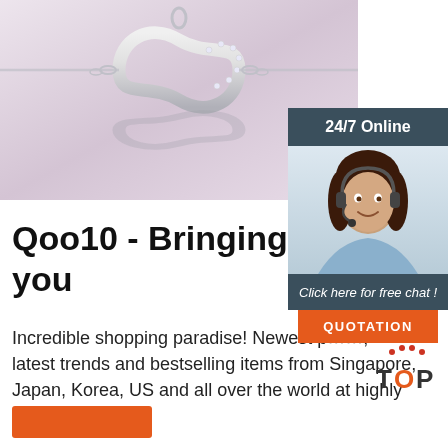[Figure (photo): Silver infinity symbol necklace with crystal diamonds on a light purple/pink background with reflection]
[Figure (infographic): 24/7 Online chat widget showing a female customer service agent wearing a headset, with 'Click here for free chat!' text and an orange QUOTATION button]
Qoo10 - Bringing the b... you
Incredible shopping paradise! Newest p..., latest trends and bestselling items from Singapore, Japan, Korea, US and all over the world at highly discounted price!